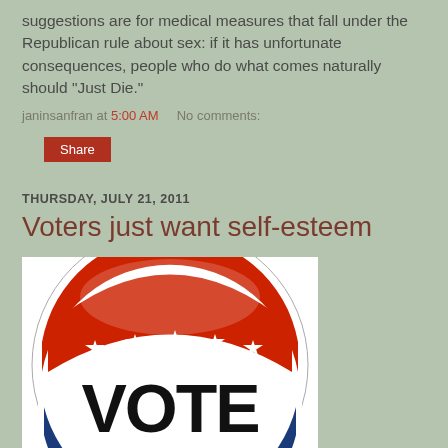suggestions are for medical measures that fall under the Republican rule about sex: if it has unfortunate consequences, people who do what comes naturally should "Just Die."
janinsanfran at 5:00 AM   No comments:
Share
THURSDAY, JULY 21, 2011
Voters just want self-esteem
[Figure (photo): A red, white, and blue circular campaign button with stars and the word VOTE in large black letters]